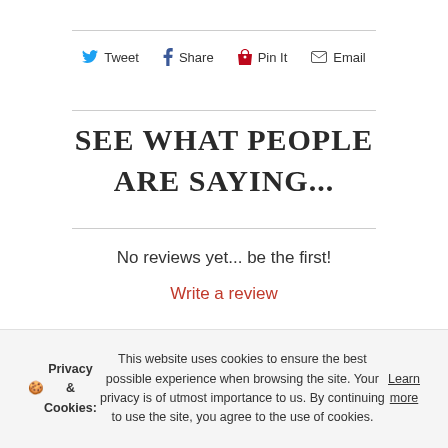Tweet  Share  Pin It  Email
SEE WHAT PEOPLE ARE SAYING...
No reviews yet... be the first!
Write a review
🍪 Privacy & Cookies: This website uses cookies to ensure the best possible experience when browsing the site. Your privacy is of utmost importance to us. By continuing to use the site, you agree to the use of cookies. Learn more